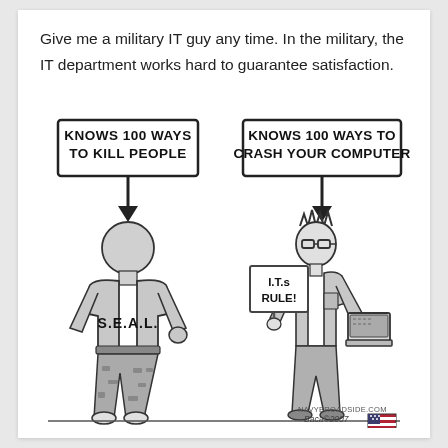Give me a military IT guy any time. In the military, the IT department works hard to guarantee satisfaction.
[Figure (illustration): A two-panel cartoon. Left: a large muscular man wearing a 'S.E.A.L.' t-shirt and camouflage pants with white sneakers, labeled by an arrow from a box reading 'KNOWS 100 WAYS TO KILL PEOPLE'. Right: a slim nerdy man with spiky hair, glasses, holding a sign 'I.T.s RULE!' and a laptop, labeled by an arrow from a box reading 'KNOWS 100 WAYS TO CRASH YOUR COMPUTER'. Bottom right corner shows 'NAVYBROADSIDE.COM' and 'Baca©2007' with a small US flag.]